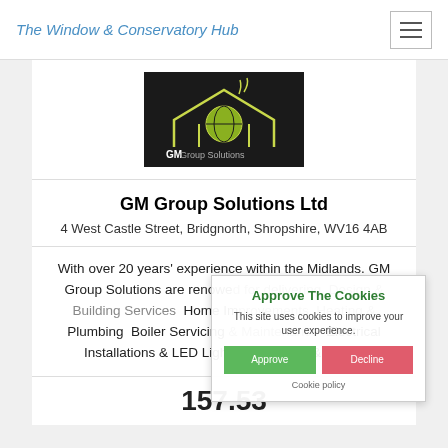The Window & Conservatory Hub
[Figure (logo): GM Group Solutions company logo — dark background with a house silhouette in yellow/green lines, a globe in the center, and text 'GM Group Solutions' at the bottom]
GM Group Solutions Ltd
4 West Castle Street, Bridgnorth, Shropshire, WV16 4AB
With over 20 years' experience within the Midlands. GM Group Solutions are renowned for delivering  Design & Building Services  Home Improvements, Heating & Plumbing  Boiler Servicing & Maintenance  Electrical Installations & LED Lighting  Kitchens & Bath...
157.53